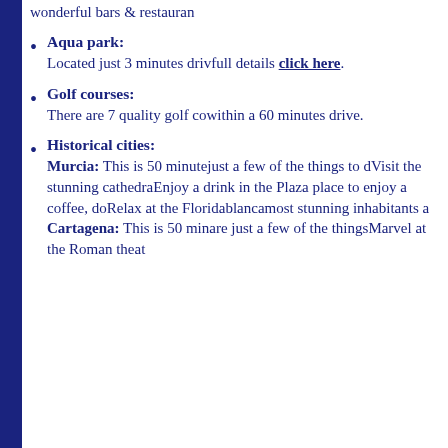wonderful bars & restaurants
Aqua park: Located just 3 minutes drive full details click here.
Golf courses: There are 7 quality golf courses within a 60 minutes drive.
Historical cities: Murcia: This is 50 minutes just a few of the things to do Visit the stunning cathedral Enjoy a drink in the Plaza place to enjoy a coffee, do Relax at the Floridablanca most stunning inhabitants and Cartagena: This is 50 minutes are just a few of the things Marvel at the Roman theatre